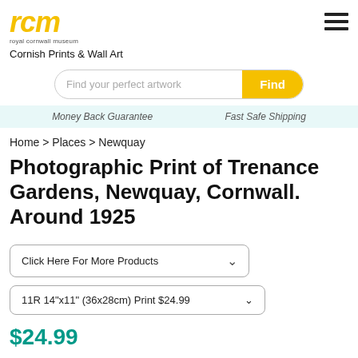rcm royal cornwall museum
Cornish Prints & Wall Art
Find your perfect artwork | Find
Money Back Guarantee   Fast Safe Shipping
Home > Places > Newquay
Photographic Print of Trenance Gardens, Newquay, Cornwall. Around 1925
Click Here For More Products
11R 14"x11" (36x28cm) Print $24.99
$24.99